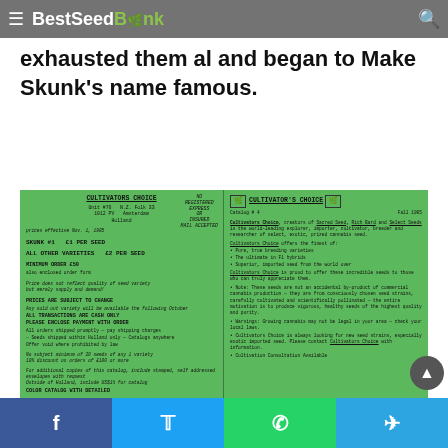BestSeedBank
exhausted them al and began to Make Skunk's name famous.
[Figure (photo): Two handwritten Cultivator's Choice seed catalog pages on green background, showing prices and descriptions for Skunk #1 and other varieties, Fall 1985]
Facebook | Twitter | WhatsApp | Telegram social share buttons